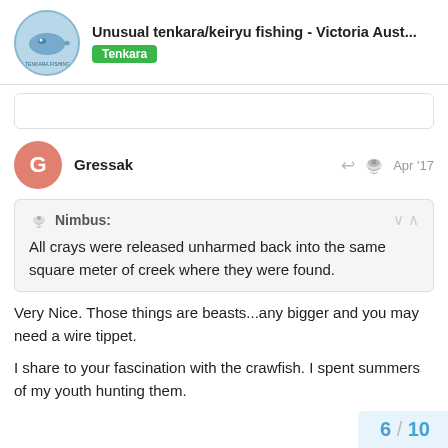Unusual tenkara/keiryu fishing - Victoria Aust... Tenkara
Gressak  Apr '17
Nimbus:  All crays were released unharmed back into the same square meter of creek where they were found.
Very Nice. Those things are beasts...any bigger and you may need a wire tippet.
I share to your fascination with the crawfish. I spent summers of my youth hunting them.
6 / 10